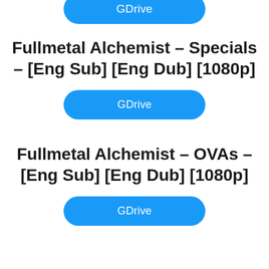[Figure (other): Blue rounded rectangle button labeled GDrive (top, partially cropped)]
Fullmetal Alchemist – Specials – [Eng Sub] [Eng Dub] [1080p]
[Figure (other): Blue rounded rectangle button labeled GDrive]
Fullmetal Alchemist – OVAs – [Eng Sub] [Eng Dub] [1080p]
[Figure (other): Blue rounded rectangle button labeled GDrive]